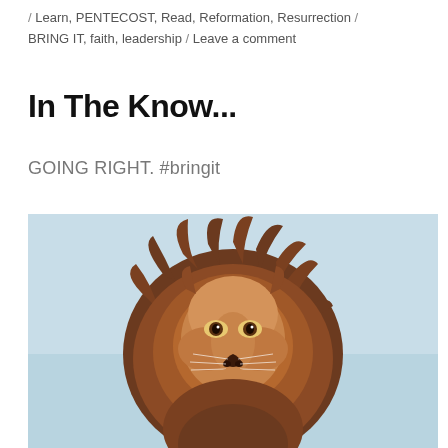/ Learn, PENTECOST, Read, Reformation, Resurrection / BRING IT, faith, leadership / Leave a comment
In The Know...
GOING RIGHT. #bringit
[Figure (photo): A lion facing the camera with a windswept mane against a light blue background]